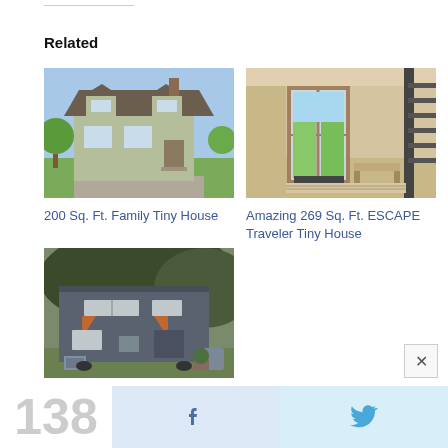Related
[Figure (photo): Exterior of a two-story green/grey family tiny house on a gravel driveway with trees in background]
200 Sq. Ft. Family Tiny House
[Figure (photo): Interior of ESCAPE Traveler tiny house showing open glass doors leading to a green field, ladder visible on right]
Amazing 269 Sq. Ft. ESCAPE Traveler Tiny House
[Figure (photo): Exterior of a modern grey tiny house on wheels with orange accents and windows, surrounded by trees]
224 Sq. Ft. Tiny House on Wheels